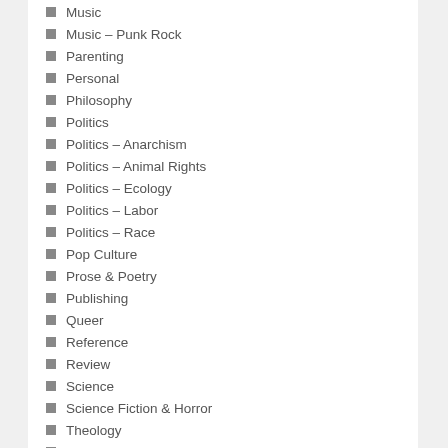Music
Music – Punk Rock
Parenting
Personal
Philosophy
Politics
Politics – Anarchism
Politics – Animal Rights
Politics – Ecology
Politics – Labor
Politics – Race
Pop Culture
Prose & Poetry
Publishing
Queer
Reference
Review
Science
Science Fiction & Horror
Theology
Transportation
Travel